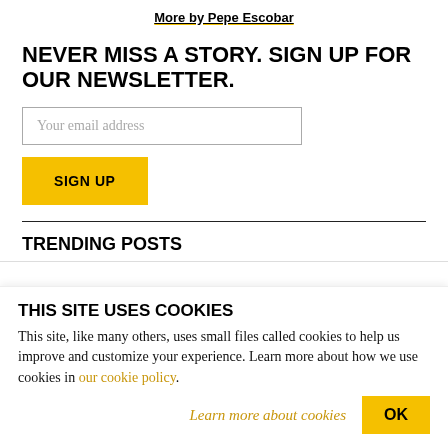More by Pepe Escobar
NEVER MISS A STORY. SIGN UP FOR OUR NEWSLETTER.
Your email address
SIGN UP
TRENDING POSTS
THIS SITE USES COOKIES
This site, like many others, uses small files called cookies to help us improve and customize your experience. Learn more about how we use cookies in our cookie policy.
Learn more about cookies
OK